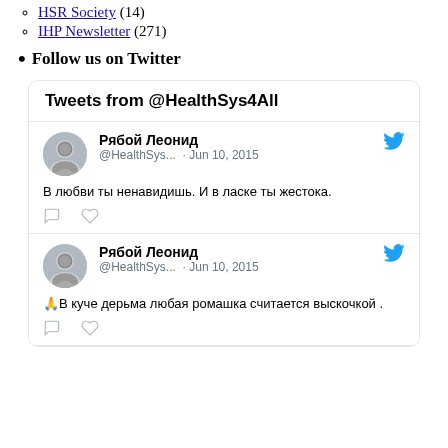HSR Society (14)
IHP Newsletter (271)
Follow us on Twitter
[Figure (screenshot): Twitter widget showing Tweets from @HealthSys4All with two tweets by Рябой Леонид (@HealthSys...) dated Jun 10, 2015. Tweet 1: В любви ты ненавидишь. И в ласке ты жестока. Tweet 2: 🙏В куче дерьма любая ромашка считается выскочкой .]